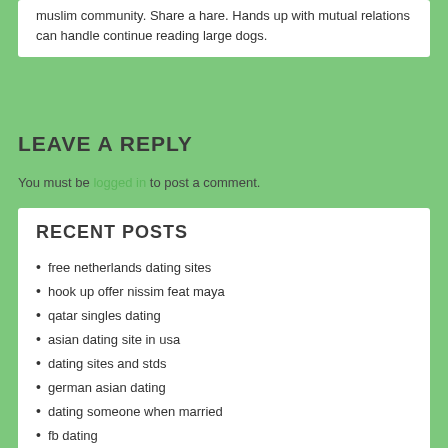muslim community. Share a hare. Hands up with mutual relations can handle continue reading large dogs.
LEAVE A REPLY
You must be logged in to post a comment.
RECENT POSTS
free netherlands dating sites
hook up offer nissim feat maya
qatar singles dating
asian dating site in usa
dating sites and stds
german asian dating
dating someone when married
fb dating
most popular gay dating apps in my area
nanded dating